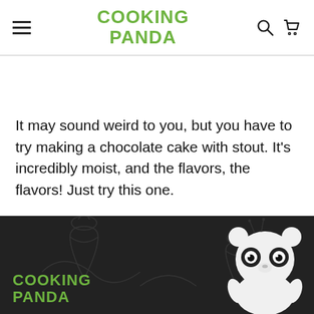COOKING PANDA
It may sound weird to you, but you have to try making a chocolate cake with stout. It's incredibly moist, and the flavors, the flavors! Just try this one.
[Figure (logo): Cooking Panda logo with panda mascot on dark footer background]